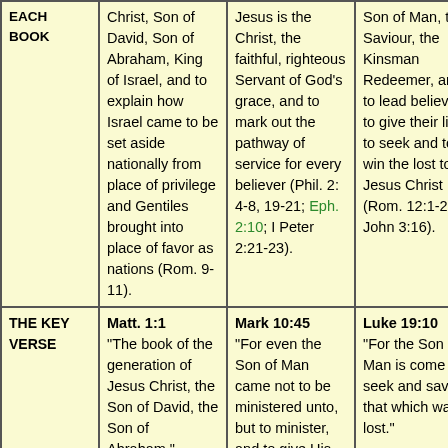| EACH BOOK | Matthew | Mark | Luke | John (partial) |
| --- | --- | --- | --- | --- |
|  | Christ, Son of David, Son of Abraham, King of Israel, and to explain how Israel came to be set aside nationally from place of privilege and Gentiles brought into place of favor as nations (Rom. 9-11). | Jesus is the Christ, the faithful, righteous Servant of God's grace, and to mark out the pathway of service for every believer (Phil. 2: 4-8, 19-21; Eph. 2:10; I Peter 2:21-23). | Son of Man, the Saviour, the Kinsman Redeemer, and to lead believers to give their lives to seek and to win the lost to Jesus Christ (Rom. 12:1-2; I John 3:16). | (partial) |
| THE KEY VERSE | Matt. 1:1 "The book of the generation of Jesus Christ, the Son of David, the Son of Abraham." | Mark 10:45 "For even the Son of Man came not to be ministered unto, but to minister, and to give His life a ransom... | Luke 19:10 "For the Son of Man is come to seek and save that which was lost." | J... (partial) |